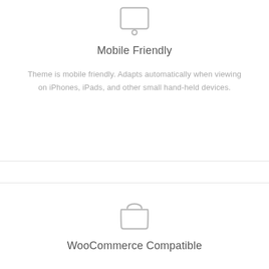[Figure (illustration): Outline icon of a tablet/mobile device (rectangle with rounded corners, home button at bottom)]
Mobile Friendly
Theme is mobile friendly. Adapts automatically when viewing on iPhones, iPads, and other small hand-held devices.
[Figure (illustration): Outline icon of a shopping bag with handles]
WooCommerce Compatible